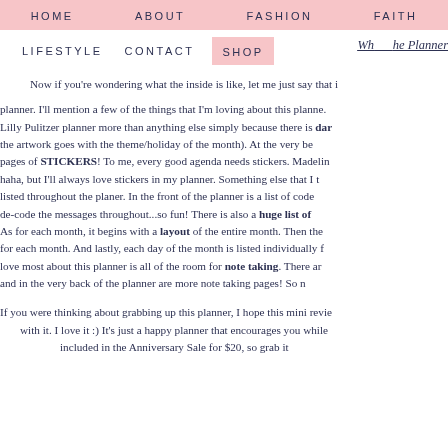HOME   ABOUT   FASHION   FAITH
LIFESTYLE   CONTACT   SHOP   Wh...he Planner
Now if you're wondering what the inside is like, let me just say that i planner. I'll mention a few of the things that I'm loving about this planne. Lilly Pulitzer planner more than anything else simply because there is dan the artwork goes with the theme/holiday of the month). At the very be pages of STICKERS! To me, every good agenda needs stickers. Madelin haha, but I'll always love stickers in my planner. Something else that I t listed throughout the planer. In the front of the planner is a list of code de-code the messages throughout...so fun! There is also a huge list of As for each month, it begins with a layout of the entire month. Then the for each month. And lastly, each day of the month is listed individually f love most about this planner is all of the room for note taking. There ar and in the very back of the planner are more note taking pages! So n
If you were thinking about grabbing up this planner, I hope this mini revie with it. I love it :) It's just a happy planner that encourages you while included in the Anniversary Sale for $20, so grab it